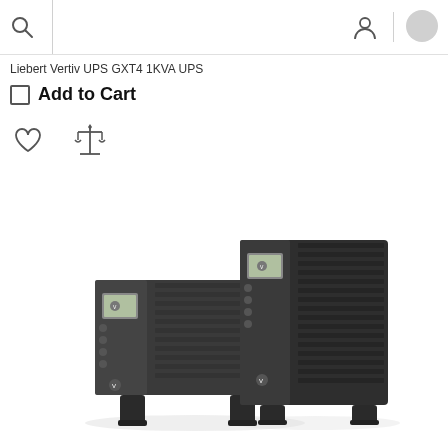Liebert Vertiv UPS GXT4 1KVA UPS
Add to Cart
[Figure (photo): Two Liebert Vertiv UPS GXT4 1KVA UPS units shown side by side — one in rackmount orientation and one in tower orientation. Both are dark charcoal/black colored rack-mountable UPS devices with ventilation grilles, small LCD display panels, and mounting feet/stands.]